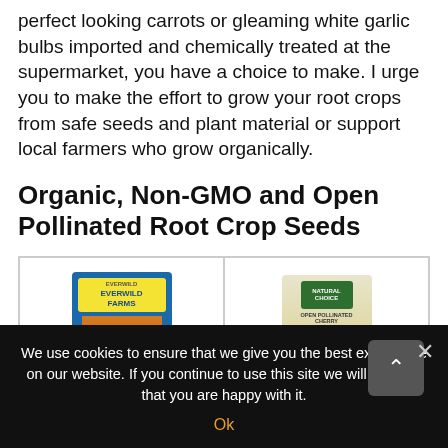perfect looking carrots or gleaming white garlic bulbs imported and chemically treated at the supermarket, you have a choice to make. I urge you to make the effort to grow your root crops from safe seeds and plant material or support local farmers who grow organically.
Organic, Non-GMO and Open Pollinated Root Crop Seeds
[Figure (photo): Two seed packet product images side by side: left is Everwild Farms brand with colorful packaging showing beets/radishes, right is Natural Choice brand with green and beige packaging showing cherry radishes.]
We use cookies to ensure that we give you the best experience on our website. If you continue to use this site we will assume that you are happy with it.
Ok